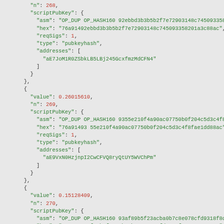JSON blockchain transaction output data showing scriptPubKey entries for outputs n:268, n:269, and n:270 with values, addresses, asm, hex, reqSigs, and type fields.